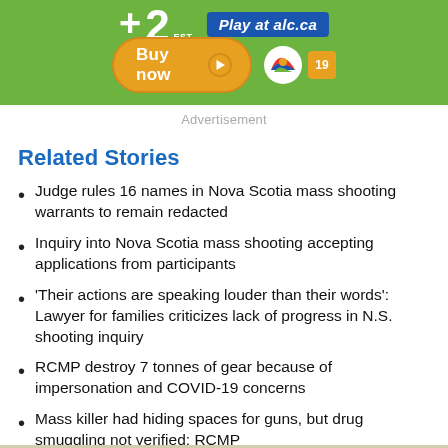[Figure (other): Advertisement banner for Atlantic Lottery Corporation (alc.ca) showing a lottery promotion with '+ 2 EST.' text, 'Play at alc.ca' blue label, 'Buy now' orange button with arrow, ALC logo, and age 19+ box on a green background.]
Advertisement
Related Stories
Judge rules 16 names in Nova Scotia mass shooting warrants to remain redacted
Inquiry into Nova Scotia mass shooting accepting applications from participants
'Their actions are speaking louder than their words': Lawyer for families criticizes lack of progress in N.S. shooting inquiry
RCMP destroy 7 tonnes of gear because of impersonation and COVID-19 concerns
Mass killer had hiding spaces for guns, but drug smuggling not verified: RCMP